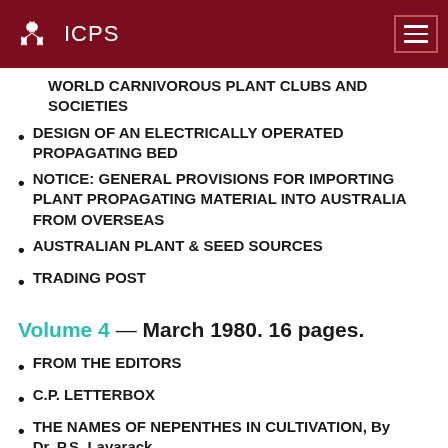ICPS
WORLD CARNIVOROUS PLANT CLUBS AND SOCIETIES (partial/truncated)
DESIGN OF AN ELECTRICALLY OPERATED PROPAGATING BED
NOTICE: GENERAL PROVISIONS FOR IMPORTING PLANT PROPAGATING MATERIAL INTO AUSTRALIA FROM OVERSEAS
AUSTRALIAN PLANT & SEED SOURCES
TRADING POST
Volume 4 — March 1980. 16 pages.
FROM THE EDITORS
C.P. LETTERBOX
THE NAMES OF NEPENTHES IN CULTIVATION, By Dr. P.S. Lavarack
THE SARRACENIA SPECIES, BY STEPHEN CLEMESHA (partial/truncated)